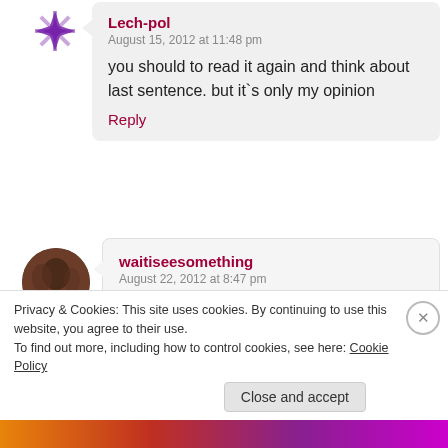[Figure (illustration): Purple snowflake avatar icon]
Lech-pol
August 15, 2012 at 11:48 pm

you should to read it again and think about last sentence. but it`s only my opinion

Reply
[Figure (photo): Brown circular avatar photo]
waitiseesomething
August 22, 2012 at 8:47 pm

Thank you for the suggestion. I re-read the last sentence, and I
Privacy & Cookies: This site uses cookies. By continuing to use this website, you agree to their use.
To find out more, including how to control cookies, see here: Cookie Policy

Close and accept